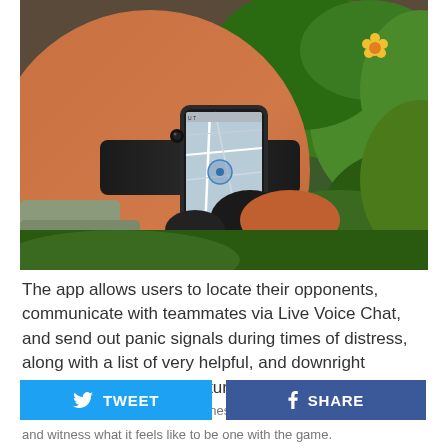[Figure (photo): Person wearing a smartphone strapped to their wrist/arm with a band, showing a map app on screen. Background is outdoor greenery with yellow flowers. The person is wearing gloves and casual clothing.]
The app allows users to locate their opponents, communicate with teammates via Live Voice Chat, and send out panic signals during times of distress, along with a list of very helpful, and downright awesome, stratagem features.
TWEET  SHARE
and witness what it feels like to be one with the game.